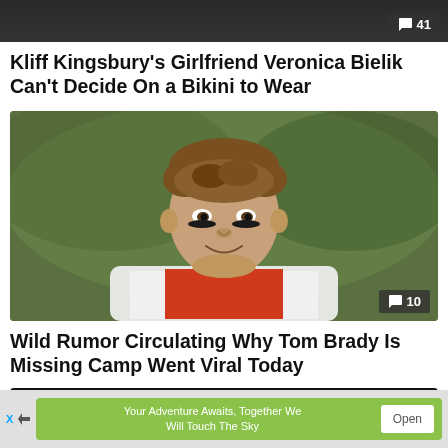[Figure (photo): Partial top image showing a dark background, cropped at top of page with comment count badge showing 41]
Kliff Kingsbury's Girlfriend Veronica Bielik Can't Decide On a Bikini to Wear
[Figure (photo): Photo of Tom Brady in football uniform with eye black, smiling, on green field background. Comment badge showing 10.]
Wild Rumor Circulating Why Tom Brady Is Missing Camp Went Viral Today
[Figure (photo): Partial bottom image showing dark background, cropped at bottom of page]
Your Adventure Awaits, Together We Will Touch The Sky
Open